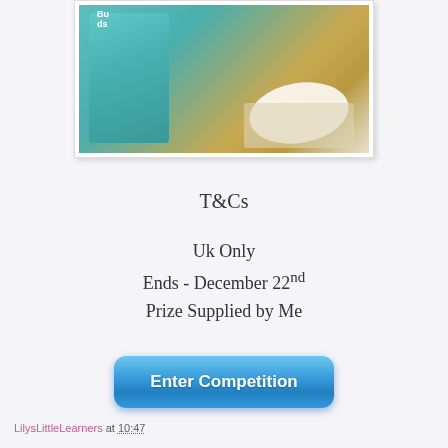[Figure (photo): Photo of a teal/turquoise product box labeled 'Buds' alongside white cotton pads in plastic wrap, on a beige surface.]
T&Cs
Uk Only
Ends - December 22nd
Prize Supplied by Me
[Figure (screenshot): Blue rounded-rectangle button labeled 'Enter Competition']
LilysLittleLearners at 10:47